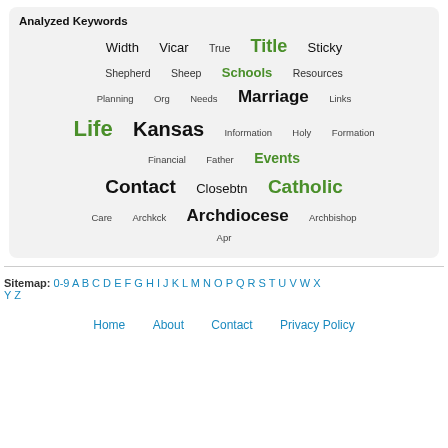[Figure (other): Analyzed Keywords tag cloud with words of varying sizes and colors (green for emphasized, black for regular). Words include: Width, Vicar, True, Title (green large), Sticky, Shepherd, Sheep, Schools (green bold), Resources, Planning, Org, Needs, Marriage (large), Links, Life (green large), Kansas (large), Information, Holy, Formation, Financial, Father, Events (green bold), Contact (large bold), Closebtn, Catholic (green large), Care, Archkck, Archdiocese (large bold), Archbishop, Apr]
Sitemap: 0-9 A B C D E F G H I J K L M N O P Q R S T U V W X Y Z
Home   About   Contact   Privacy Policy